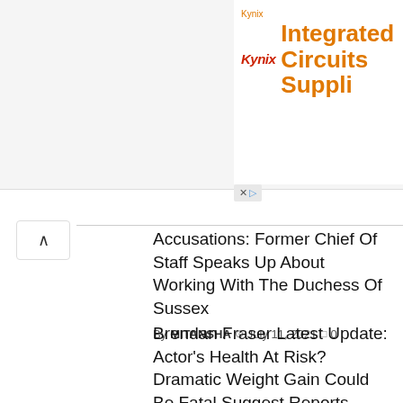[Figure (screenshot): Kynix advertisement banner with Kynix logo and 'Integrated Circuits Suppli...' text in orange]
Accusations: Former Chief Of Staff Speaks Up About Working With The Duchess Of Sussex
By MITANSHA  July 11, 2021  0
Brendan Fraser Latest Update: Actor's Health At Risk? Dramatic Weight Gain Could Be Fatal Suggest Reports
By MITANSHA  July 11, 2021  0